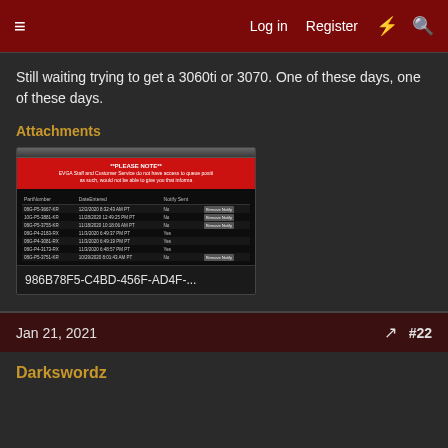≡   Log in   Register   ⚡   🔍
Still waiting trying to get a 3060ti or 3070. One of these days, one of these days.
Attachments
[Figure (screenshot): Screenshot of an EVGA queue page showing a red banner with '**PLEASE NOTE** EVGA Staff and Customer Service do not have access to queue positions as such, would not be able to give you that information' and a table listing part numbers with dates entered and notify sent status.]
986B78F5-C4BD-456F-AD4F-...
Jan 21, 2021   #22
Darkswordz